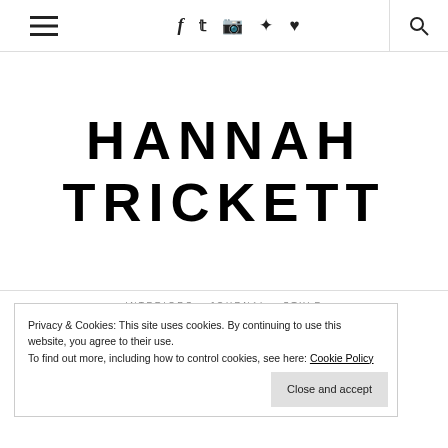≡  f  𝕏  ☷  ⊕  ♥   🔍
HANNAH TRICKETT
INTERIORS  JOURNAL  STYLE
Conscious cleaning | thoughts and recommendations
Privacy & Cookies: This site uses cookies. By continuing to use this website, you agree to their use.
To find out more, including how to control cookies, see here: Cookie Policy
Close and accept